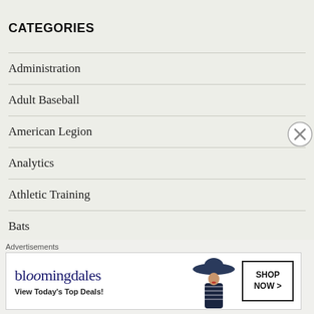CATEGORIES
Administration
Adult Baseball
American Legion
Analytics
Athletic Training
Bats
Books
[Figure (other): Bloomingdale's advertisement banner with logo, 'View Today's Top Deals!' tagline, a woman in a wide-brim hat, and a 'SHOP NOW >' button]